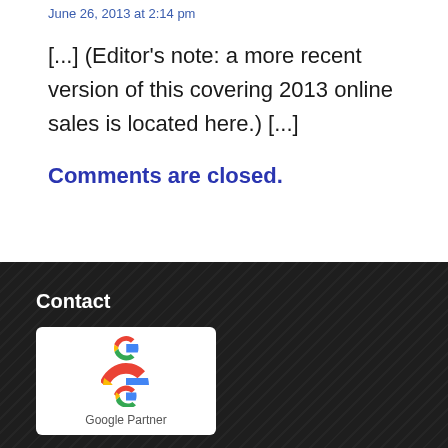June 26, 2013 at 2:14 pm
[...] (Editor's note: a more recent version of this covering 2013 online sales is located here.) [...]
Comments are closed.
Contact
[Figure (logo): Google Partner logo — white card with Google G icon and text 'Google Partner']